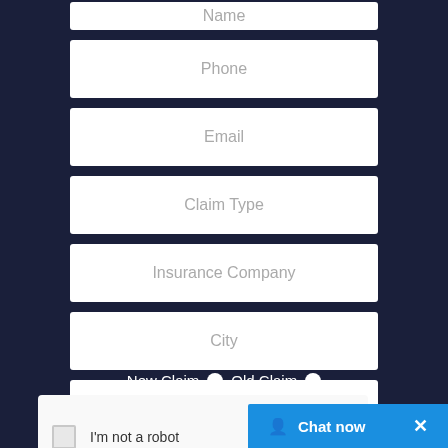Name
Phone
Email
Claim Type
Insurance Company
City
State
New Claim   Old Claim
[Figure (other): reCAPTCHA widget with checkbox and 'I'm not a robot' text and Google reCAPTCHA logo]
Chat now